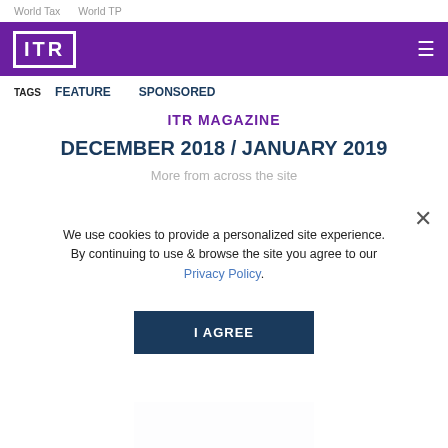World Tax   World TP
[Figure (logo): ITR logo in white on purple background with hamburger menu icon]
TAGS   FEATURE   SPONSORED
ITR MAGAZINE
DECEMBER 2018 / JANUARY 2019
We use cookies to provide a personalized site experience. By continuing to use & browse the site you agree to our Privacy Policy.
I AGREE